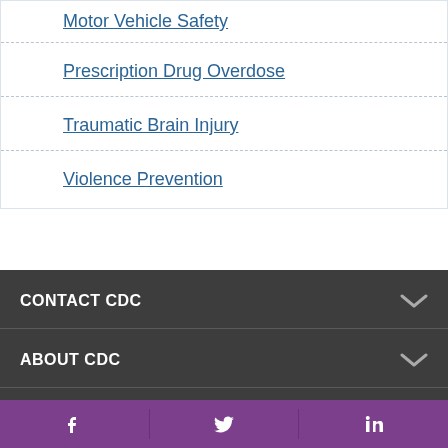Motor Vehicle Safety
Prescription Drug Overdose
Traumatic Brain Injury
Violence Prevention
CONTACT CDC
ABOUT CDC
POLICIES
Facebook | Twitter | LinkedIn